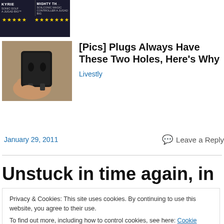[Figure (photo): Advertisement banner showing two products (KYRIE and MIGHTY TH) with star ratings on dark background]
[Figure (photo): Close-up photo of a black electrical plug held by a hand, showing the two holes]
[Pics] Plugs Always Have These Two Holes, Here's Why
Livestly
January 29, 2011
Leave a Reply
Unstuck in time again, in a
Privacy & Cookies: This site uses cookies. By continuing to use this website, you agree to their use.
To find out more, including how to control cookies, see here: Cookie Policy